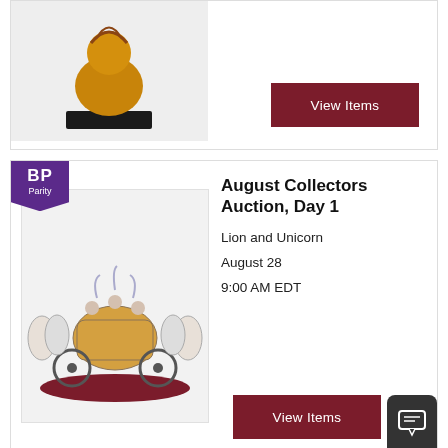[Figure (photo): Top portion of a decorative figurine on a dark base, partially cut off at top]
View Items
[Figure (photo): BP Parity badge in purple]
[Figure (photo): Porcelain figurine group showing a horse-drawn carriage with figures, on a wooden base — Lion and Unicorn auction item]
August Collectors Auction, Day 1
Lion and Unicorn
August 28
9:00 AM EDT
View Items